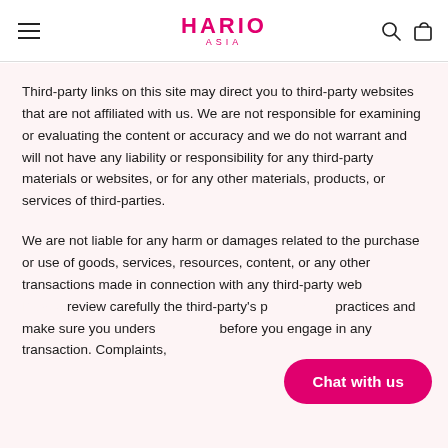HARIO ASIA
Third-party links on this site may direct you to third-party websites that are not affiliated with us. We are not responsible for examining or evaluating the content or accuracy and we do not warrant and will not have any liability or responsibility for any third-party materials or websites, or for any other materials, products, or services of third-parties.
We are not liable for any harm or damages related to the purchase or use of goods, services, resources, content, or any other transactions made in connection with any third-party websites. Please review carefully the third-party's policies and practices and make sure you understand them before you engage in any transaction. Complaints,